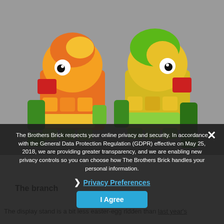[Figure (photo): Two LEGO parrot figures made of colorful bricks — one orange/red on left, one yellow/green on right — photographed against a gray background.]
The Brothers Brick respects your online privacy and security. In accordance with the General Data Protection Regulation (GDPR) effective on May 25, 2018, we are providing greater transparency, and we are enabling new privacy controls so you can choose how The Brothers Brick handles your personal information.
❯ Privacy Preferences
I Agree
The branch
The display stand is a bit less easter-egg ridden than last year's